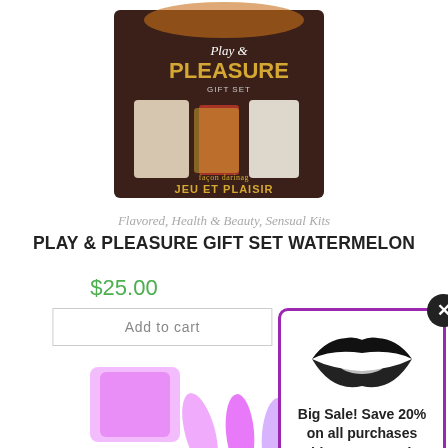[Figure (photo): Play & Pleasure Gift Set product box photo, showing a dark brown box with gold and white text reading 'Play & Pleasure Gift Set' and 'JEU ET PLAISIR', with bottles visible inside]
Flavored, Health & Beauty, Sensual Kits
PLAY & PLEASURE GIFT SET WATERMELON
$25.00
Add to cart
[Figure (photo): Pink/purple dildo set product image, partially visible at bottom of page]
[Figure (infographic): Promotional popup with black lips logo and text: Big Sale! Save 20% on all purchases with coupon code: getoff20]